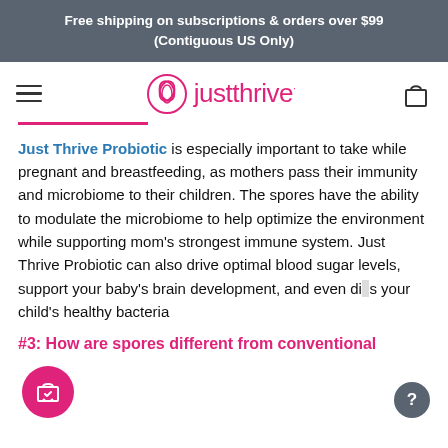Free shipping on subscriptions & orders over $99 (Contiguous US Only)
[Figure (logo): Just Thrive logo with pink circular leaf icon and brand name in pink text]
Just Thrive Probiotic is especially important to take while pregnant and breastfeeding, as mothers pass their immunity and microbiome to their children. The spores have the ability to modulate the microbiome to help optimize the environment while supporting mom's strongest immune system. Just Thrive Probiotic can also drive optimal blood sugar levels, support your baby's brain development, and even di...s your child's healthy bacteria
#3: How are spores different from conventional